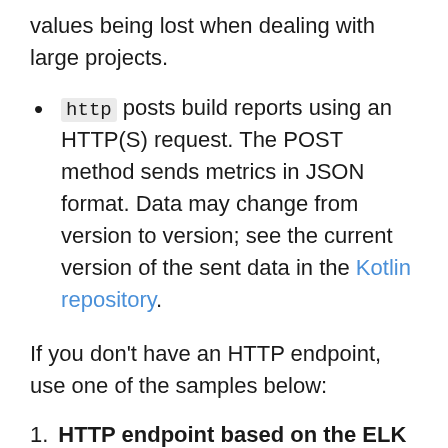values being lost when dealing with large projects.
http posts build reports using an HTTP(S) request. The POST method sends metrics in JSON format. Data may change from version to version; see the current version of the sent data in the Kotlin repository.
If you don't have an HTTP endpoint, use one of the samples below:
HTTP endpoint based on the ELK stack. Install an instance of